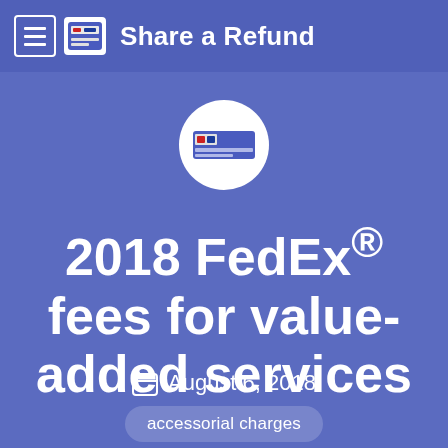Share a Refund
[Figure (logo): Share a Refund logo inside a white circle — shows a FedEx-style shipping label icon]
2018 FedEx® fees for value-added services
August 6, 2018
accessorial charges